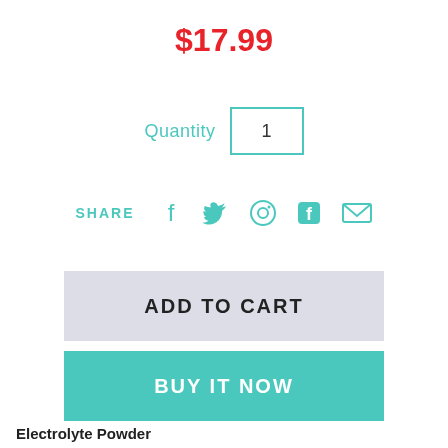$17.99
Quantity 1
SHARE
ADD TO CART
BUY IT NOW
Electrolyte Powder